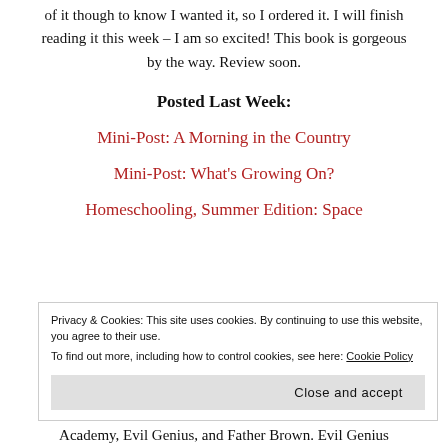of it though to know I wanted it, so I ordered it. I will finish reading it this week – I am so excited! This book is gorgeous by the way. Review soon.
Posted Last Week:
Mini-Post: A Morning in the Country
Mini-Post: What's Growing On?
Homeschooling, Summer Edition: Space
Privacy & Cookies: This site uses cookies. By continuing to use this website, you agree to their use. To find out more, including how to control cookies, see here: Cookie Policy
Close and accept
Academy, Evil Genius, and Father Brown. Evil Genius